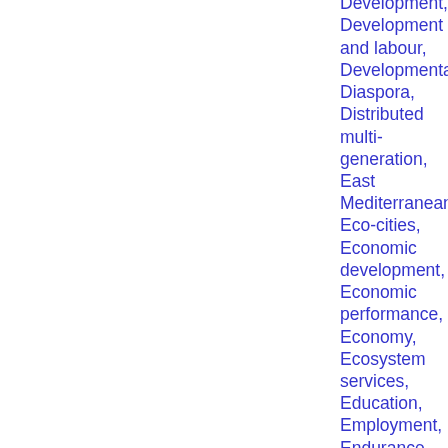guidance, Development, Development and labour, Developmentalism, Diaspora, Distributed multi-generation, East Mediterranean, Eco-cities, Economic development, Economic performance, Economy, Ecosystem services, Education, Employment, Endurance, Energy, Energy Infrastructure, Energy systems, Environment, Environmental gerontology,